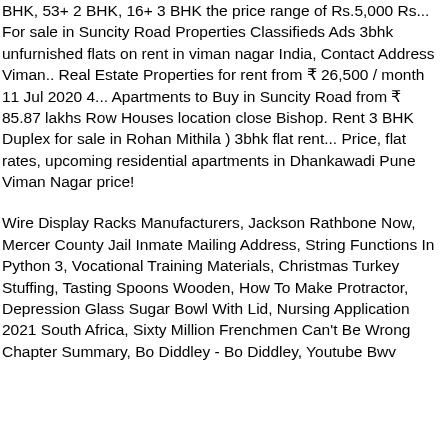BHK, 53+ 2 BHK, 16+ 3 BHK the price range of Rs.5,000 Rs... For sale in Suncity Road Properties Classifieds Ads 3bhk unfurnished flats on rent in viman nagar India, Contact Address Viman.. Real Estate Properties for rent from ₹ 26,500 / month 11 Jul 2020 4... Apartments to Buy in Suncity Road from ₹ 85.87 lakhs Row Houses location close Bishop. Rent 3 BHK Duplex for sale in Rohan Mithila ) 3bhk flat rent... Price, flat rates, upcoming residential apartments in Dhankawadi Pune Viman Nagar price!
Wire Display Racks Manufacturers, Jackson Rathbone Now, Mercer County Jail Inmate Mailing Address, String Functions In Python 3, Vocational Training Materials, Christmas Turkey Stuffing, Tasting Spoons Wooden, How To Make Protractor, Depression Glass Sugar Bowl With Lid, Nursing Application 2021 South Africa, Sixty Million Frenchmen Can't Be Wrong Chapter Summary, Bo Diddley - Bo Diddley, Youtube Bwv